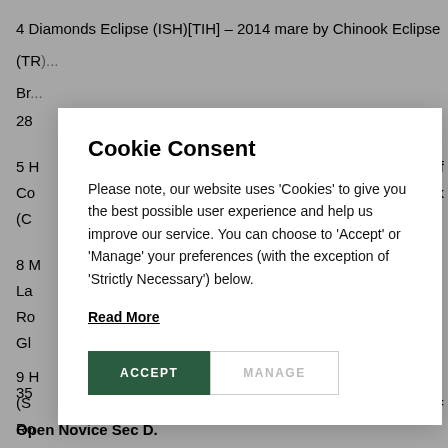4 Diamonds Eclipse (ISH)[TIH] – 2014 mare by Chinook Eclipse (TR)... out of Bulldozer Barry [SH] by Far...Cantly (ISH)[TIH]... Br... 28...
5 H... of Co... k (C...
8 M... La... Ro... Gl...
9 H... (S... Ro... = 35...
Open Novice Sec D.
[Figure (screenshot): Cookie consent modal dialog overlay with title 'Cookie Consent', body text about cookies, a 'Read More' underlined link, and two buttons: 'ACCEPT' (dark green) and 'MANAGE' (white with grey border).]